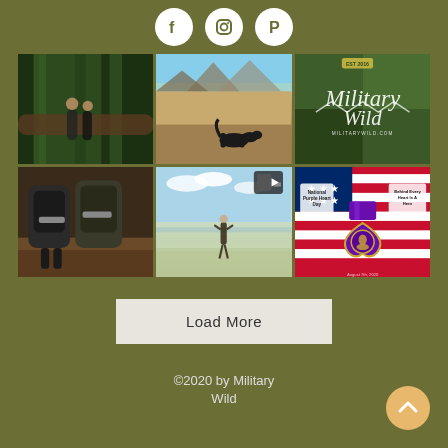[Figure (infographic): Social media icons: Facebook, Instagram, Pinterest in white circles on olive green background]
[Figure (photo): Instagram photo grid showing 6 images: forest with two people, desert landscape with dog, Military Wild branding graphic, camping gear/backpacks, person walking on beach, Purple Heart medal on American flag]
Load More
©2020 by Military Wild